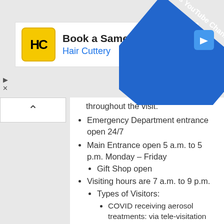[Figure (logo): Hair Cuttery advertisement banner with HC logo and text 'Book a Same Day Appoi...' and 'Hair Cuttery' in blue]
[Figure (illustration): KSST's YouTube Channel diagonal blue banner in top right corner]
throughout the visit.
Emergency Department entrance open 24/7
Main Entrance open 5 a.m. to 5 p.m. Monday – Friday
Gift Shop open
Visiting hours are 7 a.m. to 9 p.m.
Types of Visitors:
COVID receiving aerosol treatments: via tele-visitation only;
COVID not receiving aerosol treatments: 1